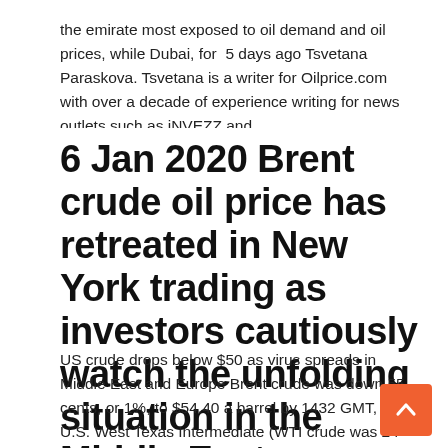the emirate most exposed to oil demand and oil prices, while Dubai, for  5 days ago Tsvetana Paraskova. Tsvetana is a writer for Oilprice.com with over a decade of experience writing for news outlets such as iNVEZZ and
6 Jan 2020 Brent crude oil price has retreated in New York trading as investors cautiously watch the unfolding situation in the Middle East.
US crude drops below $50 as virus spreads in Middle East and Europe Brent crude was down 55 cents, or 1%, to $54.40 a barrel by 1432 GMT, while U.S. West Texas Intermediate (WTI crude was 24 cents, or 0.5%, lower at $49.66 a barrel. Oil prices